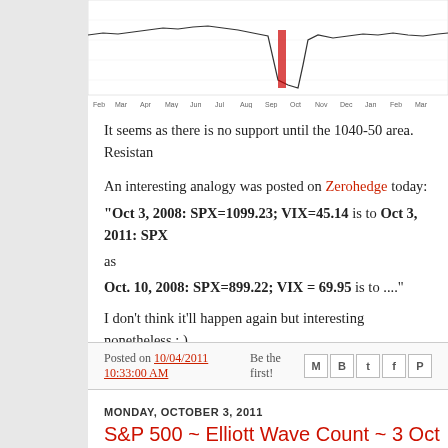[Figure (continuous-plot): Partial view of a financial chart showing SPX price history with a sharp downward spike, x-axis shows month labels.]
It seems as there is no support until the 1040-50 area. Resistan
An interesting analogy was posted on Zerohedge today:
"Oct 3, 2008: SPX=1099.23; VIX=45.14 is to Oct 3, 2011: SPX as
Oct. 10, 2008: SPX=899.22; VIX = 69.95 is to ...."
I don't think it'll happen again but interesting nonetheless ; )
Posted on 10/04/2011 10:33:00 AM   Be the first!
MONDAY, OCTOBER 3, 2011
S&P 500 ~ Elliott Wave Count ~ 3 Oct